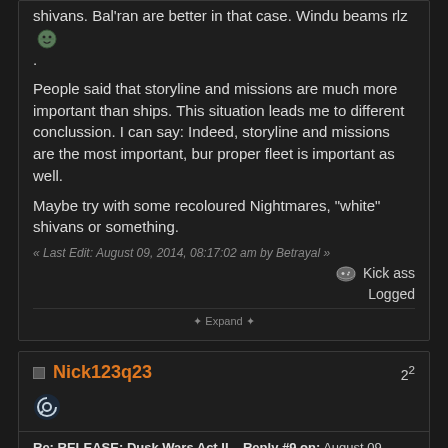shivans. Bal'ran are better in that case. Windu beams rlz
.
People said that storyline and missions are much more important than ships. This situation leads me to different conclussion. I can say: Indeed, storyline and missions are the most important, bur proper fleet is important as well.
Maybe try with some recoloured Nightmares, "white" shivans or something.
« Last Edit: August 09, 2014, 08:17:02 am by Betrayal »
Kick ass
Logged
✦ Expand ✦
Nick123q23
2²
Re: RELEASE: Dusk Wars Act II   Reply #9 on: August 09, 2014,